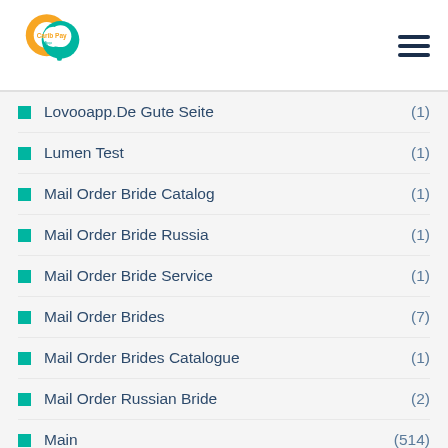Carib Pay App [logo] [hamburger menu]
Lovooapp.De Gute Seite (1)
Lumen Test (1)
Mail Order Bride Catalog (1)
Mail Order Bride Russia (1)
Mail Order Bride Service (1)
Mail Order Brides (7)
Mail Order Brides Catalogue (1)
Mail Order Russian Bride (2)
Main (514)
Maine Payday Loans Near Me (1)
Maine Title Loans Laws (1)